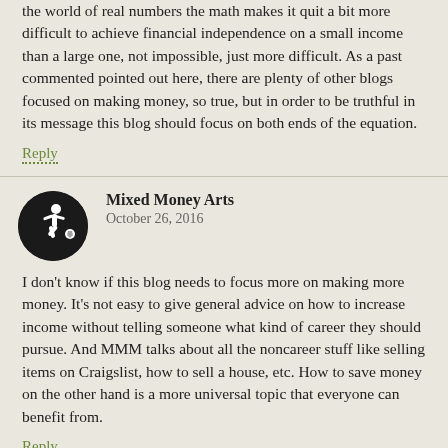the world of real numbers the math makes it quit a bit more difficult to achieve financial independence on a small income than a large one, not impossible, just more difficult. As a past commented pointed out here, there are plenty of other blogs focused on making money, so true, but in order to be truthful in its message this blog should focus on both ends of the equation.
Reply
Mixed Money Arts
October 26, 2016
I don't know if this blog needs to focus more on making more money. It's not easy to give general advice on how to increase income without telling someone what kind of career they should pursue. And MMM talks about all the noncareer stuff like selling items on Craigslist, how to sell a house, etc. How to save money on the other hand is a more universal topic that everyone can benefit from.
Reply
Jay Holden
October 26, 2016